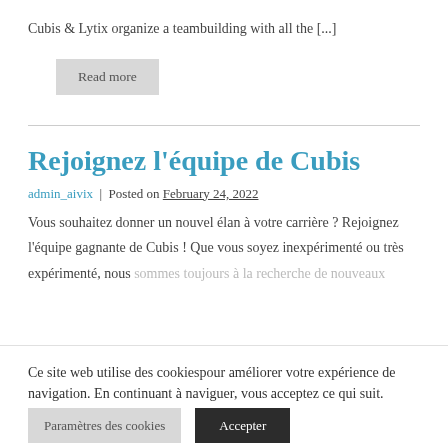Cubis & Lytix organize a teambuilding with all the [...]
Read more
Rejoignez l'équipe de Cubis
admin_aivix | Posted on February 24, 2022
Vous souhaitez donner un nouvel élan à votre carrière ? Rejoignez l'équipe gagnante de Cubis ! Que vous soyez inexpérimenté ou très expérimenté, nous sommes toujours à la recherche de nouveaux
Ce site web utilise des cookiespour améliorer votre expérience de navigation. En continuant à naviguer, vous acceptez ce qui suit.
Paramètres des cookies
Accepter